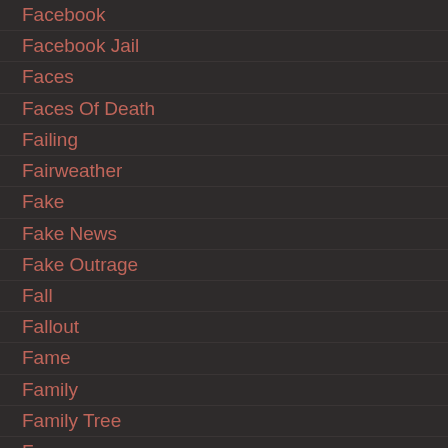Facebook
Facebook Jail
Faces
Faces Of Death
Failing
Fairweather
Fake
Fake News
Fake Outrage
Fall
Fallout
Fame
Family
Family Tree
Fan
Fanbase
Fantasy
Fantasy Football
Fare
Fargo
Fat